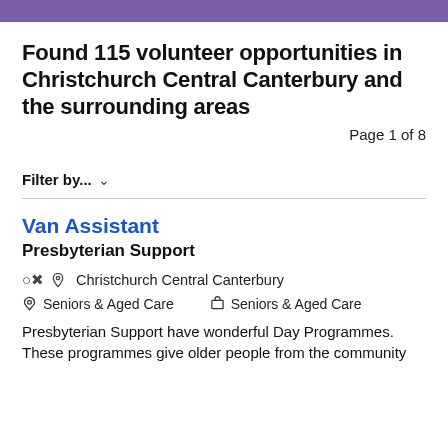Found 115 volunteer opportunities in Christchurch Central Canterbury and the surrounding areas
Page 1 of 8
Filter by... ∨
Van Assistant
Presbyterian Support
Christchurch Central Canterbury
Seniors & Aged Care    Seniors & Aged Care
Presbyterian Support have wonderful Day Programmes. These programmes give older people from the community